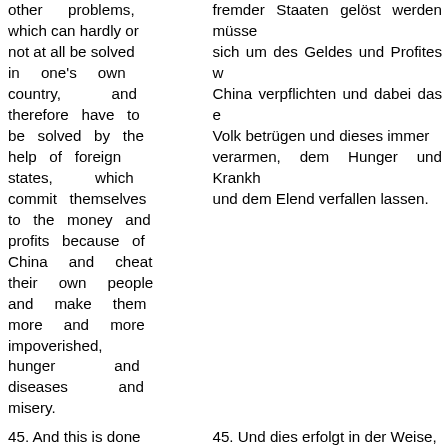other problems, which can hardly or not at all be solved in one's own country, and therefore have to be solved by the help of foreign states, which commit themselves to the money and profits because of China and cheat their own people and make them more and more impoverished, hunger and diseases and misery.
fremder Staaten gelöst werden müssen, sich um des Geldes und Profites wegen China verpflichten und dabei das eigene Volk betrügen und dieses immer mehr verarmen, dem Hunger und Krankheit und dem Elend verfallen lassen.
45. And this is done
45. Und dies erfolgt in der Weise,